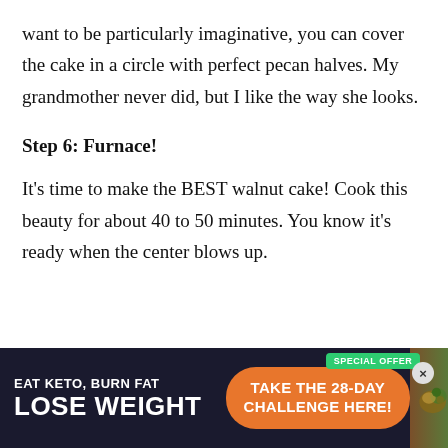want to be particularly imaginative, you can cover the cake in a circle with perfect pecan halves. My grandmother never did, but I like the way she looks.
Step 6: Furnace!
It's time to make the BEST walnut cake! Cook this beauty for about 40 to 50 minutes. You know it's ready when the center blows up.
[Figure (infographic): Advertisement banner: 'EAT KETO, BURN FAT / LOSE WEIGHT' on dark navy background with orange CTA button 'TAKE THE 28-DAY CHALLENGE HERE!' and a 'SPECIAL OFFER' green badge, with food photography on right.]